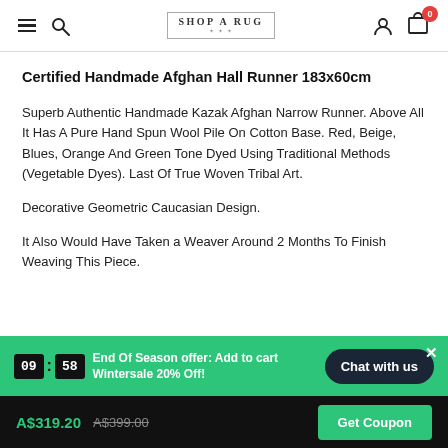SHOP A RUG — navigation header with hamburger menu, search, logo, user icon, and cart (0 items)
Certified Handmade Afghan Hall Runner 183x60cm
Superb Authentic Handmade Kazak Afghan Narrow Runner. Above All It Has A Pure Hand Spun Wool Pile On Cotton Base. Red, Beige, Blues, Orange And Green Tone Dyed Using Traditional Methods (Vegetable Dyes). Last Of True Woven Tribal Art.
Decorative Geometric Caucasian Design.
It Also Would Have Taken a Weaver Around 2 Months To Finish Weaving This Piece.
End Of Season offer: Add to cart Wintersale 20% Off! — Timer: 09:58 — Chat with us
A$319.20  A$399.00  Get Coupon